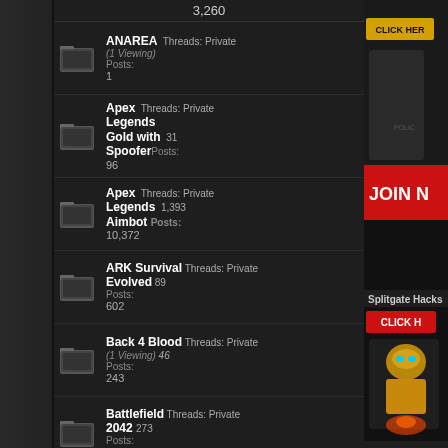3,260
ANAREA | Threads: Private (1 Viewing) | Posts: 1
Apex Legends Gold with Spoofer | Threads: 31 | Posts: 96
Apex Legends Aimbot | Threads: 1,393 | Posts: 10,372
ARK Survival Evolved | Threads: 89 | Posts: 602
Back 4 Blood (1 Viewing) | Threads: 46 | Posts: 243
Battlefield 2042 | Threads: 273 | Posts: 1,479
[Figure (screenshot): Advertisement banner with game character holding CLICK HERE sign and JOIN NOW button]
Splitgate Hacks
[Figure (screenshot): Advertisement with CLICK H button and golden robot character]